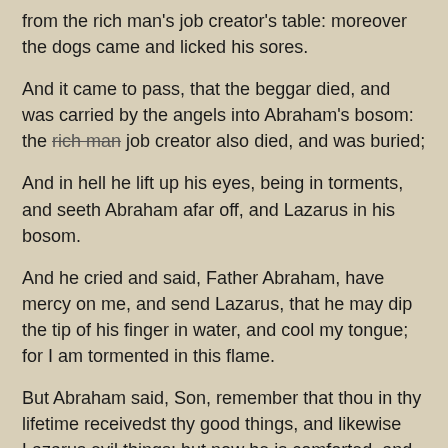from the rich man's job creator's table: moreover the dogs came and licked his sores.
And it came to pass, that the beggar died, and was carried by the angels into Abraham's bosom: the rich man job creator also died, and was buried;
And in hell he lift up his eyes, being in torments, and seeth Abraham afar off, and Lazarus in his bosom.
And he cried and said, Father Abraham, have mercy on me, and send Lazarus, that he may dip the tip of his finger in water, and cool my tongue; for I am tormented in this flame.
But Abraham said, Son, remember that thou in thy lifetime receivedst thy good things, and likewise Lazarus evil things: but now he is comforted, and thou art tormented. Luke 16:19-25
Clearly, according to Jesus, job creators are going to hell